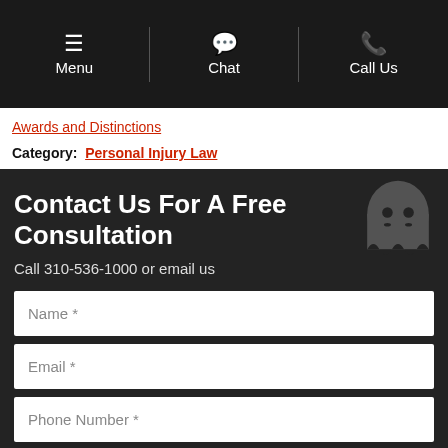Menu | Chat | Call Us
Awards and Distinctions
Category: Personal Injury Law
Contact Us For A Free Consultation
Call 310-536-1000 or email us
Name *
Email *
Phone Number *